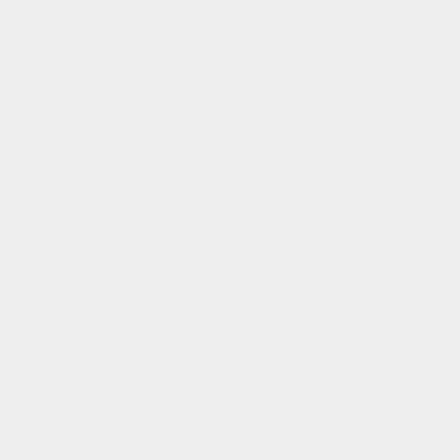tes-Siege==
tes-Siege==
Line 42:
Line 21:
* Pick wh
* Pick wh